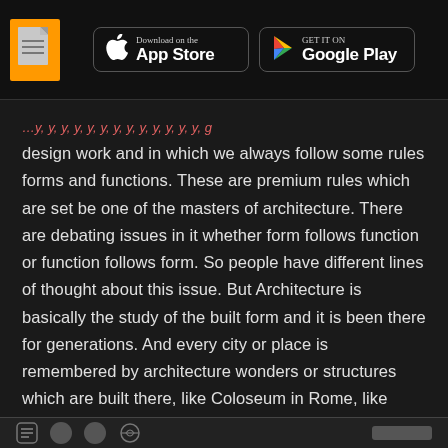App Store | Google Play
design work and in which we always follow some rules forms and functions. These are premium rules which are set be one of the masters of architecture. There are debating issues in it whether form follows function or function follows form. So people have different lines of thought about this issue. But Architecture is basically the study of the built form and it is been there for generations. And every city or place is remembered by architecture wonders or structures which are built there, like Coloseum in Rome, like Indian stupas or Taj Mahal.
"After completing my graduation in Architecture from Chandigarh College of Architecture, I started working with Kothari Associates for almost 18 years. After that, I started my own practice in Dehradun with the name Malvika Ahuja Architects."